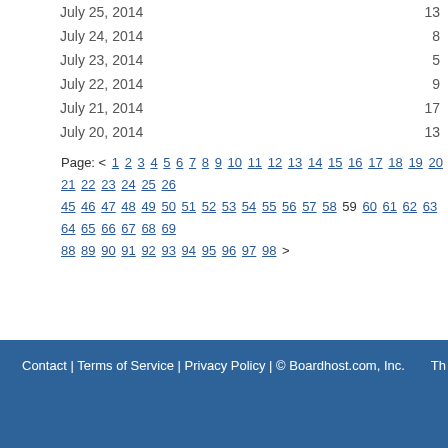July 25, 2014   13
July 24, 2014   8
July 23, 2014   5
July 22, 2014   9
July 21, 2014   17
July 20, 2014   13
Page: < 1 2 3 4 5 6 7 8 9 10 11 12 13 14 15 16 17 18 19 20 21 22 23 24 25 26 27 45 46 47 48 49 50 51 52 53 54 55 56 57 58 59 60 61 62 63 64 65 66 67 68 69 70 88 89 90 91 92 93 94 95 96 97 98 >
Contact | Terms of Service | Privacy Policy | © Boardhost.com, Inc.   Th